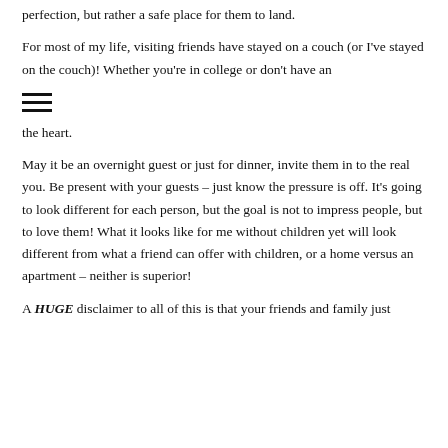perfection, but rather a safe place for them to land.
For most of my life, visiting friends have stayed on a couch (or I've stayed on the couch)! Whether you're in college or don't have an
[Figure (other): Hamburger menu icon (three horizontal lines)]
the heart.
May it be an overnight guest or just for dinner, invite them in to the real you. Be present with your guests – just know the pressure is off. It's going to look different for each person, but the goal is not to impress people, but to love them! What it looks like for me without children yet will look different from what a friend can offer with children, or a home versus an apartment – neither is superior!
A HUGE disclaimer to all of this is that your friends and family just